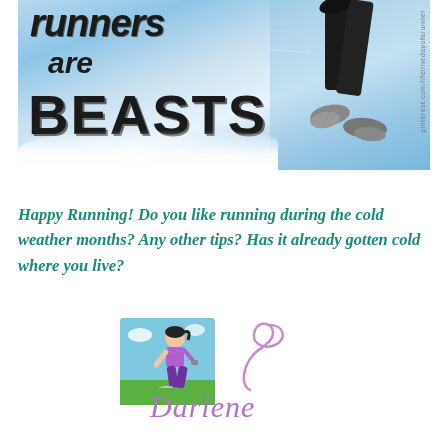[Figure (photo): A runner photographed from behind running in snow. Overlaid text reads 'runners are BEASTS'. A watermark along the right edge reads a URL with 'lifeirnedayofarunner'.]
Happy Running!  Do you like running during the cold weather months? Any other tips? Has it already gotten cold where you live?
[Figure (illustration): A signature block with a cartoon illustration of a female runner in purple outfit with a decorative purple curl/swirl and the cursive name 'Darlene' below.]